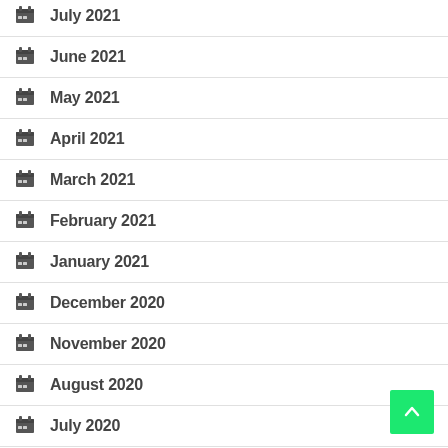July 2021
June 2021
May 2021
April 2021
March 2021
February 2021
January 2021
December 2020
November 2020
August 2020
July 2020
May 2020
March 2020